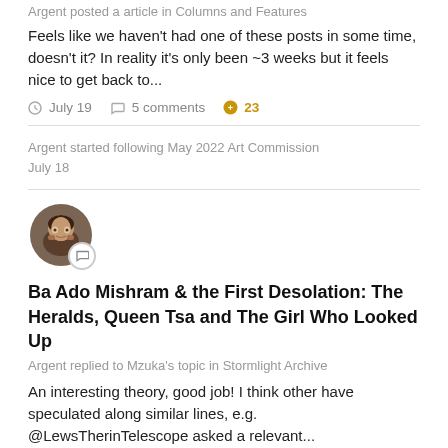Argent posted a article in Columns and Features
Feels like we haven't had one of these posts in some time, doesn't it? In reality it's only been ~3 weeks but it feels nice to get back to...
July 19   5 comments   +23
Argent started following May 2022 Art Commission
July 18
[Figure (photo): Avatar of a person with dark hair and beard, circular profile photo with a comment badge]
Ba Ado Mishram & the First Desolation: The Heralds, Queen Tsa and The Girl Who Looked Up
Argent replied to Mzuka's topic in Stormlight Archive
An interesting theory, good job! I think other have speculated along similar lines, e.g. @LewsTherinTelescope asked a relevant...
July 18   29 replies   +7
[Figure (photo): Avatar of a person with dark hair and beard, circular profile photo with a comment badge]